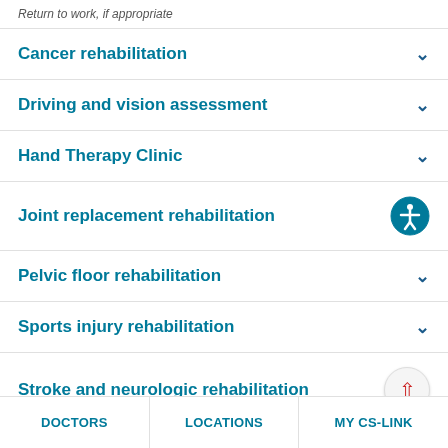Return to work, if appropriate
Cancer rehabilitation
Driving and vision assessment
Hand Therapy Clinic
Joint replacement rehabilitation
Pelvic floor rehabilitation
Sports injury rehabilitation
Stroke and neurologic rehabilitation
DOCTORS | LOCATIONS | MY CS-LINK